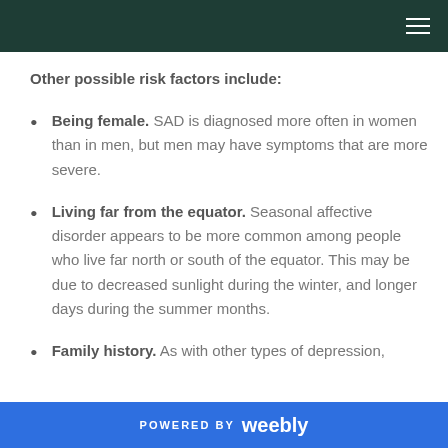Other possible risk factors include:
Being female. SAD is diagnosed more often in women than in men, but men may have symptoms that are more severe.
Living far from the equator. Seasonal affective disorder appears to be more common among people who live far north or south of the equator. This may be due to decreased sunlight during the winter, and longer days during the summer months.
Family history. As with other types of depression,
POWERED BY weebly